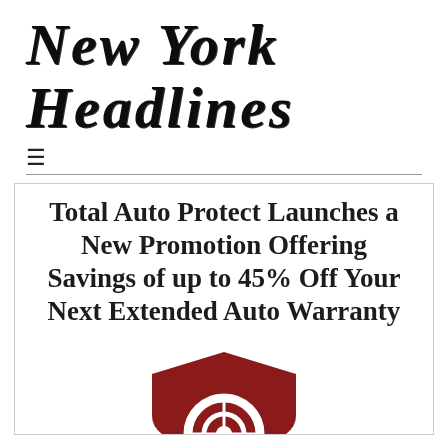New York Headlines
≡
Total Auto Protect Launches a New Promotion Offering Savings of up to 45% Off Your Next Extended Auto Warranty
[Figure (logo): Red shield/crest logo with a tire tread design in white, partially visible at the bottom of the page]